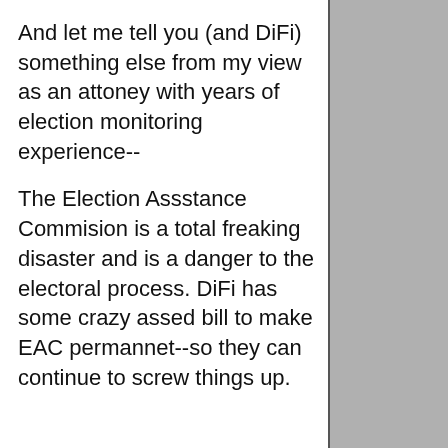And let me tell you (and DiFi) something else from my view as an attoney with years of election monitoring experience--
The Election Assstance Commision is a total freaking disaster and is a danger to the electoral process. DiFi has some crazy assed bill to make EAC permannet--so they can continue to screw things up.